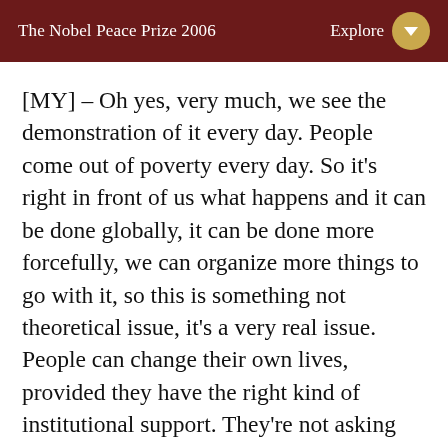The Nobel Peace Prize 2006  Explore
[MY] – Oh yes, very much, we see the demonstration of it every day. People come out of poverty every day. So it's right in front of us what happens and it can be done globally, it can be done more forcefully, we can organize more things to go with it, so this is something not theoretical issue, it's a very real issue. People can change their own lives, provided they have the right kind of institutional support. They're not asking for charity, charity is no solution to poverty. Poverty is the creation of opportunities like everybody else has, not the poor people, so bring them to the poor people, so that they can change their lives. That's all we are doing. We didn't do anything special; lend money to the people so – but they never lent it to the poor people – all we did was we lent it to the poor people, and